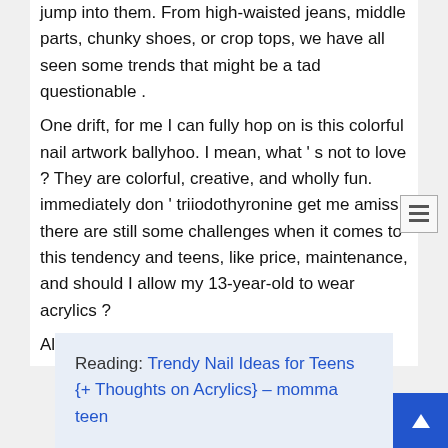jump into them. From high-waisted jeans, middle parts, chunky shoes, or crop tops, we have all seen some trends that might be a tad questionable . One drift, for me I can fully hop on is this colorful nail artwork ballyhoo. I mean, what ' s not to love ? They are colorful, creative, and wholly fun. immediately don ' triiodothyronine get me amiss, there are still some challenges when it comes to this tendency and teens, like price, maintenance, and should I allow my 13-year-old to wear acrylics ? All valid concerns.
Reading: Trendy Nail Ideas for Teens {+ Thoughts on Acrylics} – momma teen